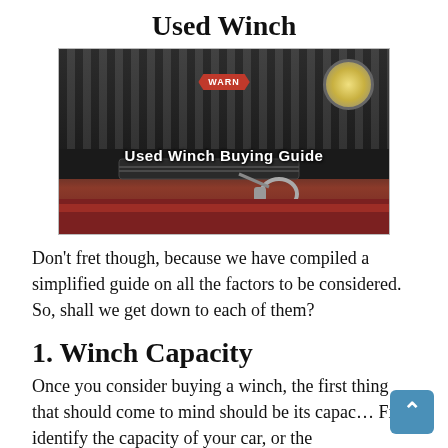Used Winch
[Figure (photo): Photo of a vehicle front bumper with a WARN winch mounted, showing the winch drum and hook. Text overlay reads 'Used Winch Buying Guide'.]
Don't fret though, because we have compiled a simplified guide on all the factors to be considered. So, shall we get down to each of them?
1. Winch Capacity
Once you consider buying a winch, the first thing that should come to mind should be its capac… First, identify the capacity of your car, or the